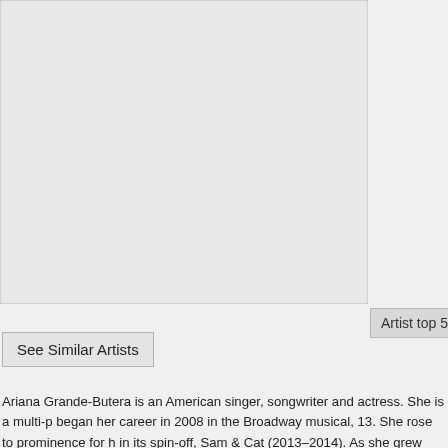[Figure (photo): Large image placeholder (light gray rectangle), likely a photo of Ariana Grande]
Artist top 50
See Similar Artists
Ariana Grande-Butera is an American singer, songwriter and actress. She is a multi-p began her career in 2008 in the Broadway musical, 13. She rose to prominence for h in its spin-off, Sam & Cat (2013–2014). As she grew interested in pursuing a music c Records in 2011 after the label's executives discovered videos of her covering songs